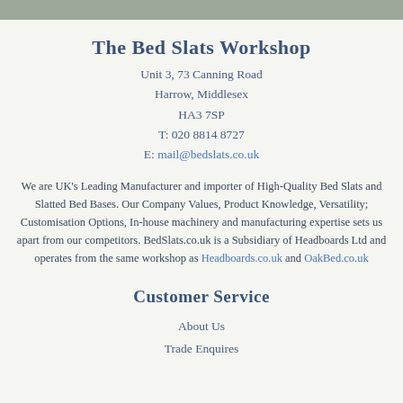The Bed Slats Workshop
Unit 3, 73 Canning Road
Harrow, Middlesex
HA3 7SP
T: 020 8814 8727
E: mail@bedslats.co.uk
We are UK's Leading Manufacturer and importer of High-Quality Bed Slats and Slatted Bed Bases. Our Company Values, Product Knowledge, Versatility; Customisation Options, In-house machinery and manufacturing expertise sets us apart from our competitors. BedSlats.co.uk is a Subsidiary of Headboards Ltd and operates from the same workshop as Headboards.co.uk and OakBed.co.uk
Customer Service
About Us
Trade Enquires